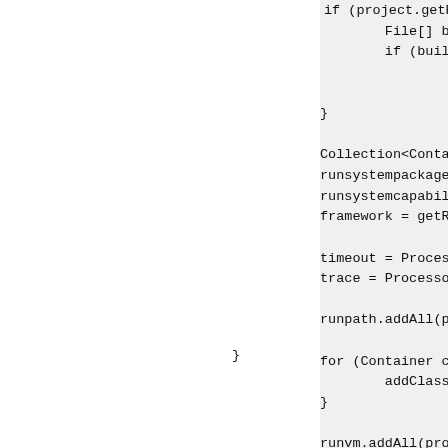Code snippet showing Java method body with file builds, collection/runpath setup, timeout/trace, classpath loop, runvm/runprogramargs/runproperties, storageDir logic, closing brace, and public void deactivate() method start.